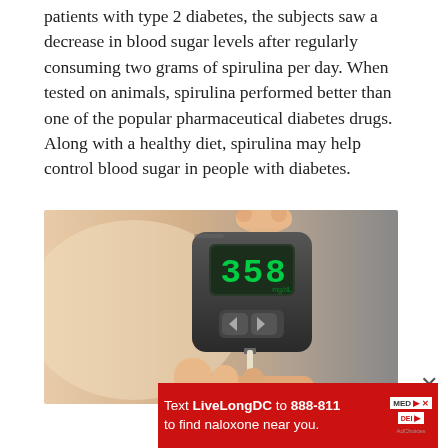patients with type 2 diabetes, the subjects saw a decrease in blood sugar levels after regularly consuming two grams of spirulina per day. When tested on animals, spirulina performed better than one of the popular pharmaceutical diabetes drugs. Along with a healthy diet, spirulina may help control blood sugar in people with diabetes.
[Figure (photo): A close-up photo of a person holding a blood glucose meter displaying the reading 358, while a test strip is inserted and touching a finger with a drop of blood.]
Text LiveLongDC to 888-811 to find naloxone near you.